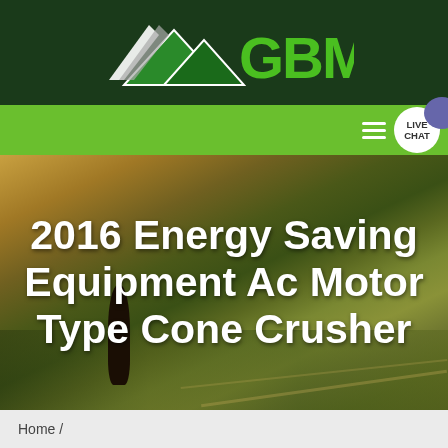[Figure (logo): GBM company logo with mountain/arrow graphic in white and green on dark green background, with bold green GBM text]
[Figure (screenshot): Green navigation bar with hamburger menu icon, LIVE CHAT badge circle, and purple chat bubble icon on the right side]
[Figure (photo): Aerial view of agricultural fields with warm golden and green tones, a dark cypress tree in the lower left area]
2016 Energy Saving Equipment Ac Motor Type Cone Crusher
Home /